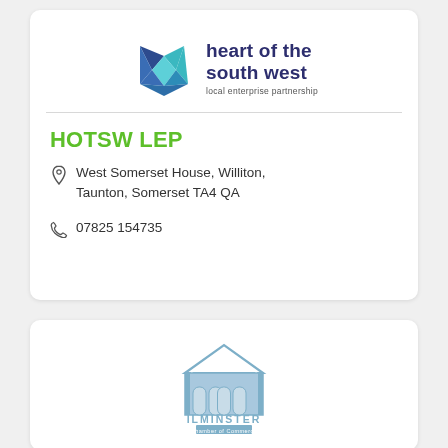[Figure (logo): Heart of the South West Local Enterprise Partnership logo — geometric blue/teal heart shape with text 'heart of the south west' and 'local enterprise partnership']
HOTSW LEP
West Somerset House, Williton, Taunton, Somerset TA4 QA
07825 154735
[Figure (logo): Ilminster Chamber of Commerce logo — blue building/market hall illustration with text 'ILMINSTER Chamber of Commerce']